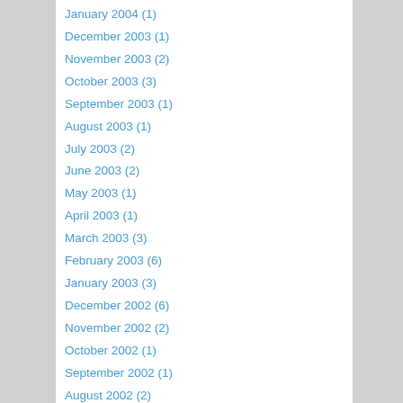January 2004 (1)
December 2003 (1)
November 2003 (2)
October 2003 (3)
September 2003 (1)
August 2003 (1)
July 2003 (2)
June 2003 (2)
May 2003 (1)
April 2003 (1)
March 2003 (3)
February 2003 (6)
January 2003 (3)
December 2002 (6)
November 2002 (2)
October 2002 (1)
September 2002 (1)
August 2002 (2)
July 2002 (2)
June 2002 (5)
May 2002 (6)
April 2002 (3)